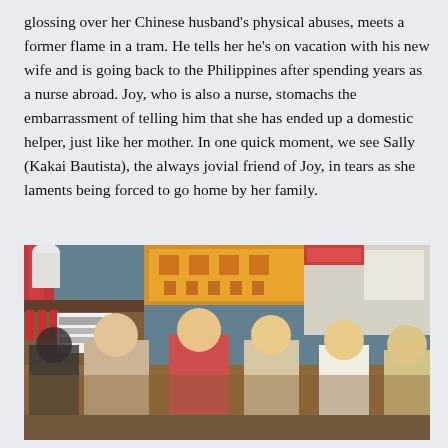glossing over her Chinese husband's physical abuses, meets a former flame in a tram. He tells her he's on vacation with his new wife and is going back to the Philippines after spending years as a nurse abroad. Joy, who is also a nurse, stomachs the embarrassment of telling him that she has ended up a domestic helper, just like her mother. In one quick moment, we see Sally (Kakai Bautista), the always jovial friend of Joy, in tears as she laments being forced to go home by her family.
[Figure (photo): A scene from a film set in a busy Asian market or street, showing several women, some appearing to be talking or reacting, with colorful signage and market stalls in the background.]